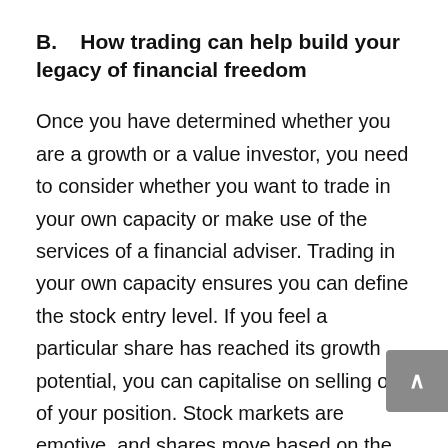B.    How trading can help build your legacy of financial freedom
Once you have determined whether you are a growth or a value investor, you need to consider whether you want to trade in your own capacity or make use of the services of a financial adviser. Trading in your own capacity ensures you can define the stock entry level. If you feel a particular share has reached its growth potential, you can capitalise on selling out of your position. Stock markets are emotive, and shares move based on the performance of the underlying comp as well as macroeconomic factors. Active trading stocks allows you to capitalise on these share price movements. In this way you can actively build your